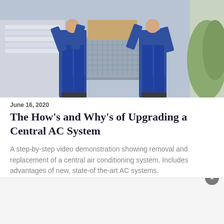[Figure (photo): Two workers in blue uniforms installing or replacing an outdoor central air conditioning unit]
June 16, 2020
The How's and Why's of Upgrading a Central AC System
A step-by-step video demonstration showing removal and replacement of a central air conditioning system. Includes advantages of new, state-of the-art AC systems.
[Figure (photo): Close-up of hands holding a prying bar, with a sign reading PRYING BAR in the foreground]
[Figure (other): White advertisement/overlay panel with a close (x) button in the top right corner]